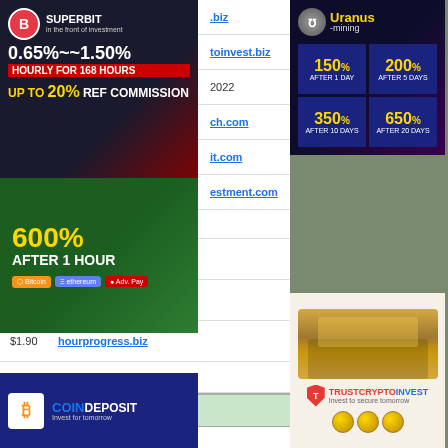[Figure (advertisement): SUPERBIT - in the front of investment. 0.65%~~1.50% HOURLY FOR 168 HOURS, UP TO 20% REF COMMISSION]
.biz
toinvest.biz
2022
ch.com
it.com
estment.com
$1.20   coindeposit.net
$1.20   Depositcoin.net
$0.90   cryptomines.biz
$1.90   hourprogress.biz
Top Hits/Hosts
conice.biz
Yesterday Hits: 4724 Hosts: 4705
osts: 3784
m
sts: 312
sts: 281
[Figure (advertisement): 600% AFTER 1 HOUR - crypto investment ad]
[Figure (advertisement): COINDEPOSIT - Invest for tomorrow]
[Figure (advertisement): Uranus Mining - 150% AFTER 1 DAY, 200% AFTER 5 DAYS, 350% AFTER 10 DAYS, 650% AFTER 20 DAYS]
[Figure (advertisement): TRUSTCRYPTOINVEST - Invest to secure tomorrow]